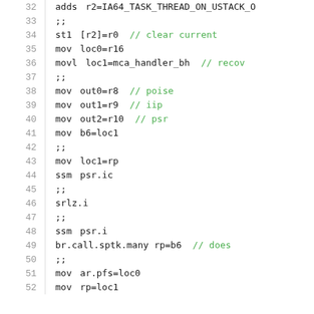[Figure (screenshot): Assembly/IA64 source code listing showing lines 32-52 with line numbers, instructions, operands, and inline comments in green.]